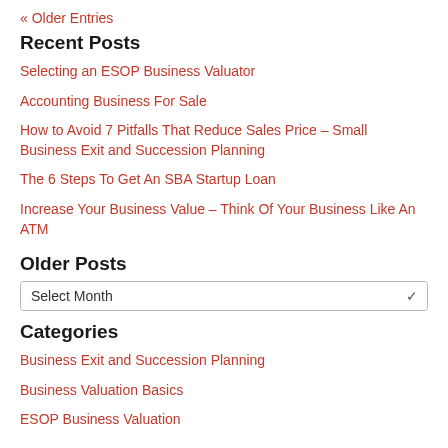« Older Entries
Recent Posts
Selecting an ESOP Business Valuator
Accounting Business For Sale
How to Avoid 7 Pitfalls That Reduce Sales Price – Small Business Exit and Succession Planning
The 6 Steps To Get An SBA Startup Loan
Increase Your Business Value – Think Of Your Business Like An ATM
Older Posts
Select Month
Categories
Business Exit and Succession Planning
Business Valuation Basics
ESOP Business Valuation